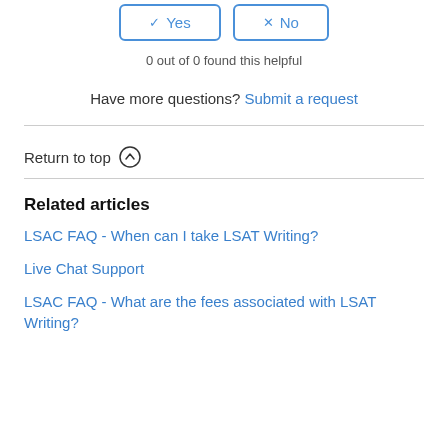[Figure (other): Yes and No feedback buttons with checkbox and X icons, bordered in blue]
0 out of 0 found this helpful
Have more questions? Submit a request
Return to top ↑
Related articles
LSAC FAQ - When can I take LSAT Writing?
Live Chat Support
LSAC FAQ - What are the fees associated with LSAT Writing?